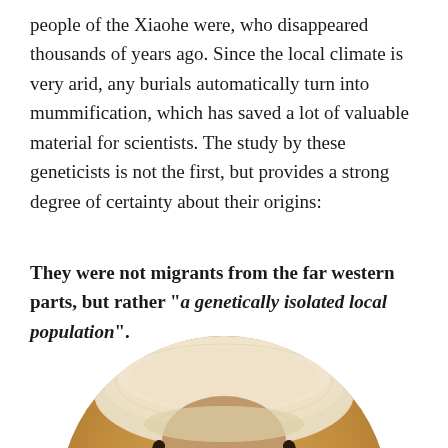people of the Xiaohe were, who disappeared thousands of years ago. Since the local climate is very arid, any burials automatically turn into mummification, which has saved a lot of valuable material for scientists. The study by these geneticists is not the first, but provides a strong degree of certainty about their origins:
They were not migrants from the far western parts, but rather "a genetically isolated local population".
[Figure (photo): A mummified face wearing a large fuzzy hat, with visible eyelashes and hair on the sides, set against an orange-tan background. The image is cropped in a rounded arch/oval shape at the top.]